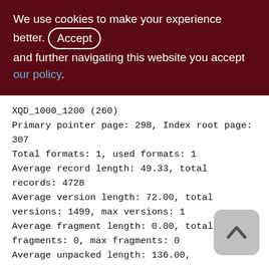We use cookies to make your experience better. By accepting and further navigating this website you accept our policy.
XQD_1000_1200 (260)
Primary pointer page: 298, Index root page: 307
Total formats: 1, used formats: 1
Average record length: 49.33, total records: 4728
Average version length: 72.00, total versions: 1499, max versions: 1
Average fragment length: 0.00, total fragments: 0, max fragments: 0
Average unpacked length: 136.00, compression ratio: 2.76